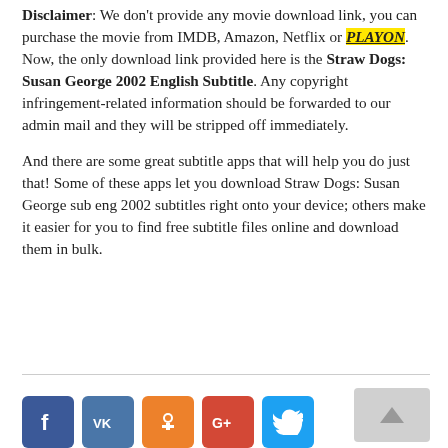Disclaimer: We don't provide any movie download link, you can purchase the movie from IMDB, Amazon, Netflix or PLAYON. Now, the only download link provided here is the Straw Dogs: Susan George 2002 English Subtitle. Any copyright infringement-related information should be forwarded to our admin mail and they will be stripped off immediately.

And there are some great subtitle apps that will help you do just that! Some of these apps let you download Straw Dogs: Susan George sub eng 2002 subtitles right onto your device; others make it easier for you to find free subtitle files online and download them in bulk.
[Figure (other): Scroll-to-top button with upward arrow]
[Figure (other): Social media share buttons: Facebook, VKontakte, Odnoklassniki, Google+, Twitter]